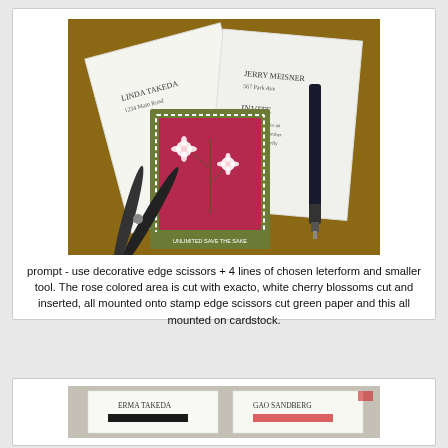[Figure (photo): Photo of handmade wedding invitation components on a brown cardboard background: decorative scissors with red handles, a pen, white cards with handwritten names and addresses, and a stamp-edge cut card with a rose-colored panel featuring white cherry blossom flowers on a green border.]
prompt - use decorative edge scissors + 4 lines of chosen leterform and smaller tool. The rose colored area is cut with exacto, white cherry blossoms cut and inserted, all mounted onto stamp edge scissors cut green paper and this all mounted on cardstock.
[Figure (photo): Partial photo showing white cards with handwritten names including ERMA TAKEDA and what appears to be GAO SANDBERG, partially visible at the bottom of the page.]